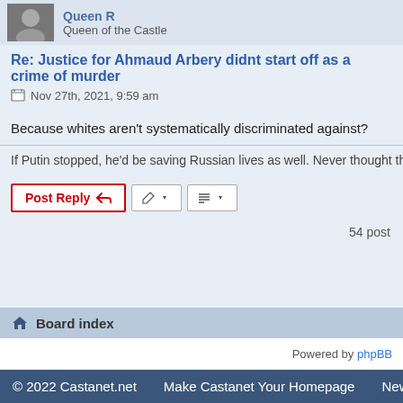Queen R
Queen of the Castle
Re: Justice for Ahmaud Arbery didnt start off as a crime of murder
Nov 27th, 2021, 9:59 am
Because whites aren't systematically discriminated against?
If Putin stopped, he'd be saving Russian lives as well. Never thought the right would have a
54 posts
Board index
Powered by phpBB
© 2022 Castanet.net   Make Castanet Your Homepage   News Ti